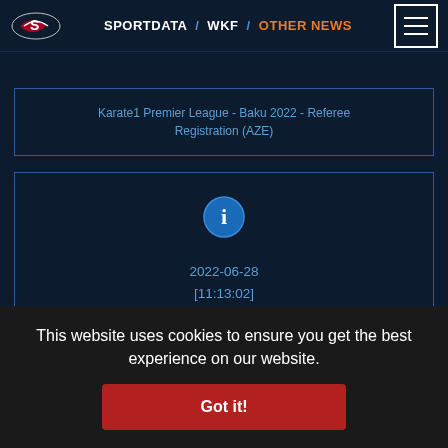SPORTDATA / WKF / OTHER NEWS
Karate1 Premier League - Baku 2022 - Referee Registration (AZE)
[Figure (screenshot): Info icon circle with letter i]
2022-06-28
[11:13:02]
Karate1 Premier League - Baku 2022 - Coach
This website uses cookies to ensure you get the best experience on our website.
Got it!